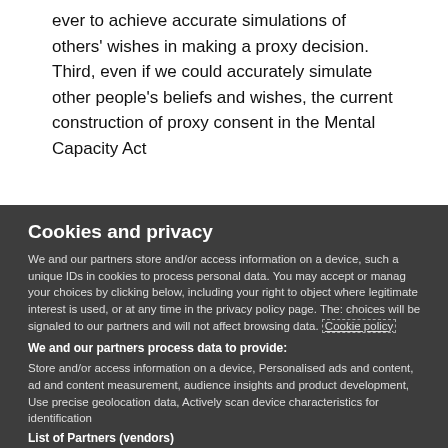ever to achieve accurate simulations of others' wishes in making a proxy decision. Third, even if we could accurately simulate other people's beliefs and wishes, the current construction of proxy consent in the Mental Capacity Act
Cookies and privacy
We and our partners store and/or access information on a device, such a unique IDs in cookies to process personal data. You may accept or manage your choices by clicking below, including your right to object where legitimate interest is used, or at any time in the privacy policy page. These choices will be signaled to our partners and will not affect browsing data. Cookie policy
We and our partners process data to provide:
Store and/or access information on a device, Personalised ads and content, ad and content measurement, audience insights and product development, Use precise geolocation data, Actively scan device characteristics for identification
List of Partners (vendors)